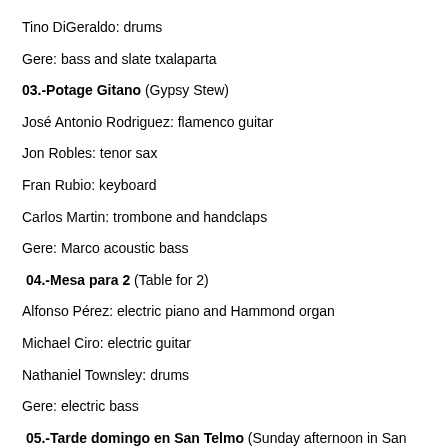Tino DiGeraldo: drums
Gere: bass and slate txalaparta
03.-Potage Gitano (Gypsy Stew)
José Antonio Rodriguez: flamenco guitar
Jon Robles: tenor sax
Fran Rubio: keyboard
Carlos Martin: trombone and handclaps
Gere: Marco acoustic bass
04.-Mesa para 2 (Table for 2)
Alfonso Pérez: electric piano and Hammond organ
Michael Ciro: electric guitar
Nathaniel Townsley: drums
Gere: electric bass
05.-Tarde domingo en San Telmo (Sunday afternoon in San Telmo)
06.-La Tormenta (The Storm)
Jon Robles: tenor and soprano sax